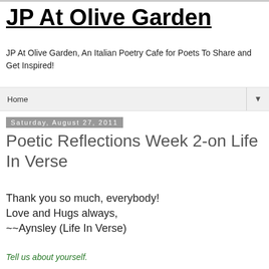JP At Olive Garden
JP At Olive Garden, An Italian Poetry Cafe for Poets To Share and Get Inspired!
Home ▼
Saturday, August 27, 2011
Poetic Reflections Week 2-on Life In Verse
Thank you so much, everybody!
Love and Hugs always,
~~Aynsley (Life In Verse)
Tell us about yourself.